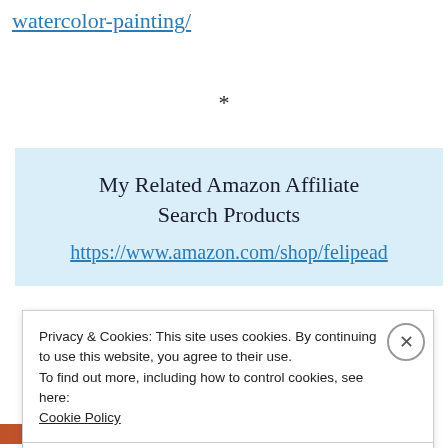watercolor-painting/
*
My Related Amazon Affiliate Search Products
https://www.amazon.com/shop/felipead
Privacy & Cookies: This site uses cookies. By continuing to use this website, you agree to their use.
To find out more, including how to control cookies, see here:
Cookie Policy
Close and accept